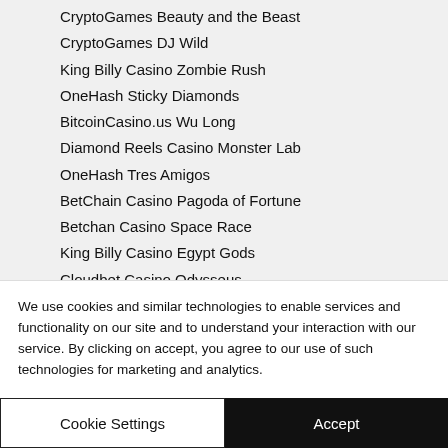CryptoGames Beauty and the Beast
CryptoGames DJ Wild
King Billy Casino Zombie Rush
OneHash Sticky Diamonds
BitcoinCasino.us Wu Long
Diamond Reels Casino Monster Lab
OneHash Tres Amigos
BetChain Casino Pagoda of Fortune
Betchan Casino Space Race
King Billy Casino Egypt Gods
Cloudbet Casino Odysseus
Diamond Reels Casino Great Reef
CryptoWild Casino 7 Sins
We use cookies and similar technologies to enable services and functionality on our site and to understand your interaction with our service. By clicking on accept, you agree to our use of such technologies for marketing and analytics.
Cookie Settings
Accept